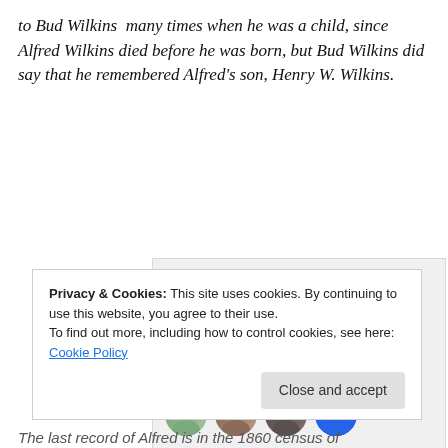to Bud Wilkins  many times when he was a child, since Alfred Wilkins died before he was born, but Bud Wilkins did say that he remembered Alfred's son, Henry W. Wilkins.
[Figure (screenshot): P2 advertisement screenshot showing logo icon, headline 'Getting your team on the same page is easy. And free.' and row of user avatar photos]
Privacy & Cookies: This site uses cookies. By continuing to use this website, you agree to their use.
To find out more, including how to control cookies, see here: Cookie Policy
The last record of Alfred is in the 1860 census of